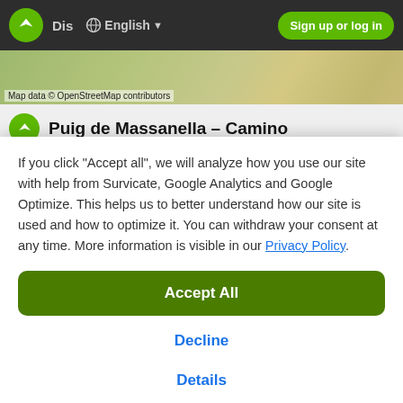[Figure (screenshot): Dark navigation bar with Komoot logo, 'Dis' text, globe icon with 'English' dropdown, and 'Sign up or log in' green button]
[Figure (map): Map strip showing terrain/satellite map with OpenStreetMap attribution]
Puig de Massanella – Camino
If you click "Accept all", we will analyze how you use our site with help from Survicate, Google Analytics and Google Optimize. This helps us to better understand how our site is used and how to optimize it. You can withdraw your consent at any time. More information is visible in our Privacy Policy.
Accept All
Decline
Details